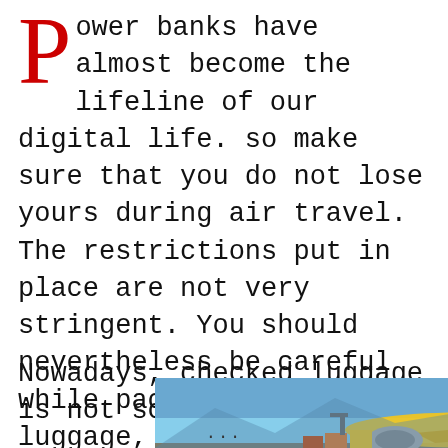Power banks have almost become the lifeline of our digital life. so make sure that you do not lose yours during air travel. The restrictions put in place are not very stringent. You should nevertheless be careful while packing your luggage, and not put it in the checked luggage. If you think you can get away with it, you may be wrong.
Nowadays, checked luggage is not scanned
[Figure (photo): Airplane on tarmac being loaded with cargo, with a dark overlay badge reading 'WITHOUT REGARD TO POLITICS, RELIGION OR HEALTH TO ALL']